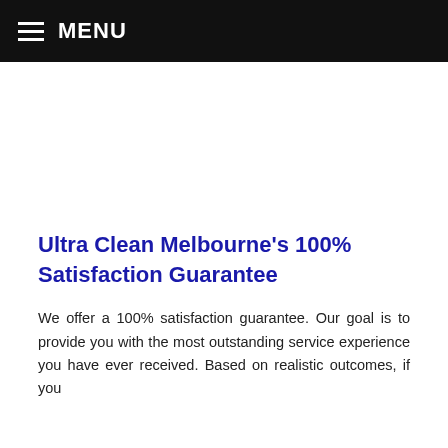MENU
Ultra Clean Melbourne’s 100% Satisfaction Guarantee
We offer a 100% satisfaction guarantee. Our goal is to provide you with the most outstanding service experience you have ever received. Based on realistic outcomes, if you